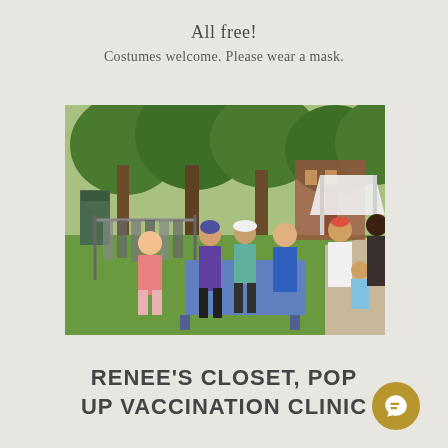All free!
Costumes welcome. Please wear a mask.
[Figure (photo): Outdoor community event in a park with trees. People gathered around a blue table with clothing racks nearby. A white tent is visible in the background. People wearing colorful clothing and hats on a sunny day.]
RENEE'S CLOSET, POP UP VACCINATION CLINIC